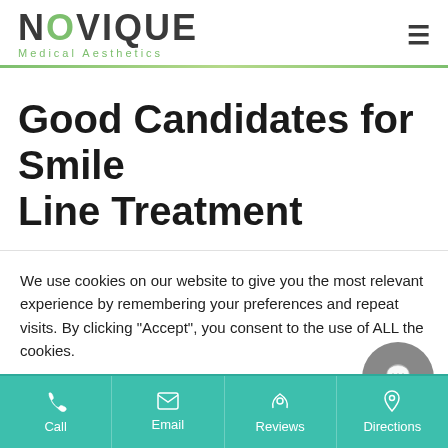NOVIQUE Medical Aesthetics
Good Candidates for Smile Line Treatment
We use cookies on our website to give you the most relevant experience by remembering your preferences and repeat visits. By clicking “Accept”, you consent to the use of ALL the cookies.
Do not sell my personal information.
Call | Email | Reviews | Directions